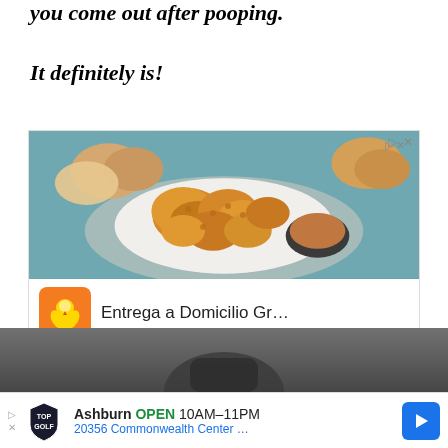you come out after pooping.
It definitely is!
[Figure (screenshot): Advertisement for Pollo Campero showing fried chicken nuggets on a white plate with dipping sauce, rolls in background on teal surface. Ad shows: 'Entrega a Domicilio Gr...' with Pollo Campero logo, Herndon 10AM-10PM location info.]
[Figure (photo): Bottom portion of a dark photo, partially visible, appears to show a person or object in dark tones.]
[Figure (screenshot): Advertisement for Topgolf Ashburn showing: OPEN 10AM-11PM, 20356 Commonwealth Center..., with blue navigation arrow button.]